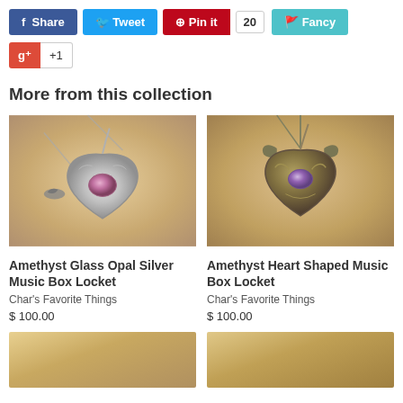[Figure (screenshot): Social sharing buttons row: Facebook Share (blue), Twitter Tweet (blue), Pinterest Pin it with count 20 (red), Fancy (teal)]
[Figure (screenshot): Google +1 button row]
More from this collection
[Figure (photo): Amethyst Glass Opal Silver Music Box Locket - silver heart-shaped locket with purple opal center on chain]
[Figure (photo): Amethyst Heart Shaped Music Box Locket - antique bronze heart-shaped locket with amethyst stone on chain]
Amethyst Glass Opal Silver Music Box Locket
Char's Favorite Things
$ 100.00
Amethyst Heart Shaped Music Box Locket
Char's Favorite Things
$ 100.00
[Figure (photo): Partially visible product image bottom left]
[Figure (photo): Partially visible product image bottom right]